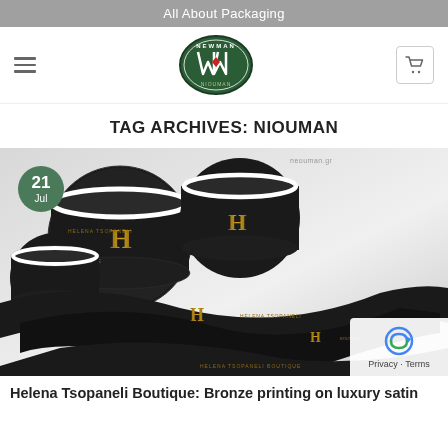All About Packaging
[Figure (logo): Neouman/Newman brand logo — dark green oval with stylized W/M letters and red diamond, white text 'NEWMAN' around it]
TAG ARCHIVES: NIOUMAN
[Figure (photo): Black luxury satin ribbons with gold/bronze printed 'H' monogram logo, rolled spools stacked in background, ribbons unfurled in foreground on white surface. Date badge: 21 Jul.]
Helena Tsopaneli Boutique: Bronze printing on luxury satin